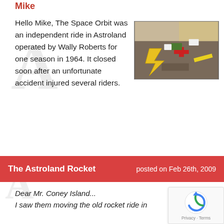Mike
Hello Mike, The Space Orbit was an independent ride in Astroland operated by Wally Roberts for one season in 1964. It closed soon after an unfortunate accident injured several riders.
[Figure (photo): Aerial photograph of the Space Orbit ride at Astroland, showing colorful ride elements including yellow lightning bolt shapes and a cross-shaped structure on a dark asphalt surface, with vehicles and fencing visible.]
The Astroland Rocket  posted on Feb 26th, 2009
Dear Mr. Coney Island...
I saw them moving the old rocket ride in